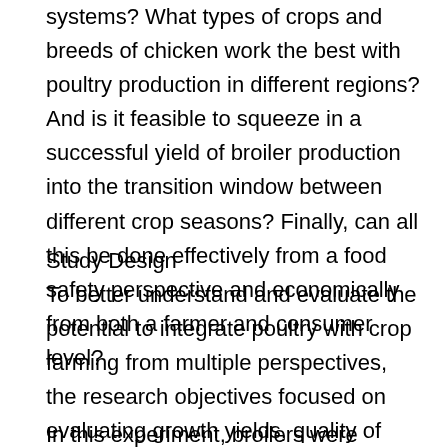systems? What types of crops and breeds of chicken work the best with poultry production in different regions? And is it feasible to squeeze in a successful yield of broiler production into the transition window between different crop seasons? Finally, can all this be done effectively from a food safety perspective and economically from both a farmer and consumer level?
Study Design
To better understand and evaluate the potential to integrate poultry with crop farming from multiple perspectives, the research objectives focused on evaluating growth yields, quality of agricultural outputs, food safety risks, agroecological impacts on soil and pests, and economic feasibility of such systems.
In this experiment, broilers were raised on pasture starting at